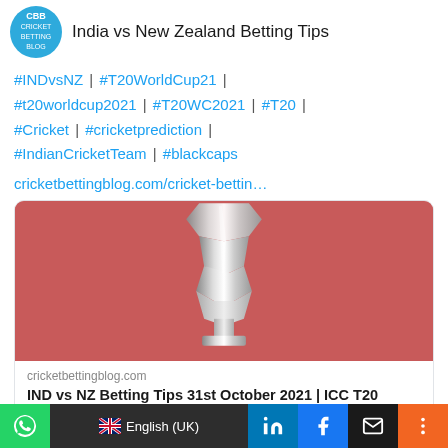India vs New Zealand Betting Tips
#INDvsNZ | #T20WorldCup21 | #t20worldcup2021 | #T20WC2021 | #T20 | #Cricket | #cricketprediction | #IndianCricketTeam | #blackcaps
cricketbettingblog.com/cricket-bettin…
[Figure (photo): T20 World Cup trophy on a pink/red background]
cricketbettingblog.com
IND vs NZ Betting Tips 31st October 2021 | ICC T20 World Cup 2021
WhatsApp | English (UK) | LinkedIn | Facebook | Email | More